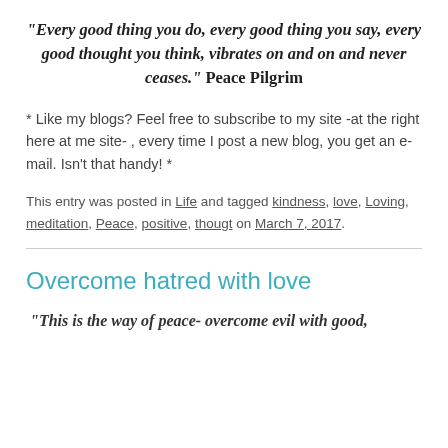“Every good thing you do, every good thing you say, every good thought you think, vibrates on and on and never ceases.” Peace Pilgrim
* Like my blogs? Feel free to subscribe to my site -at the right here at me site- , every time I post a new blog, you get an e-mail. Isn’t that handy! *
This entry was posted in Life and tagged kindness, love, Loving, meditation, Peace, positive, thougt on March 7, 2017.
Overcome hatred with love
“This is the way of peace- overcome evil with good,